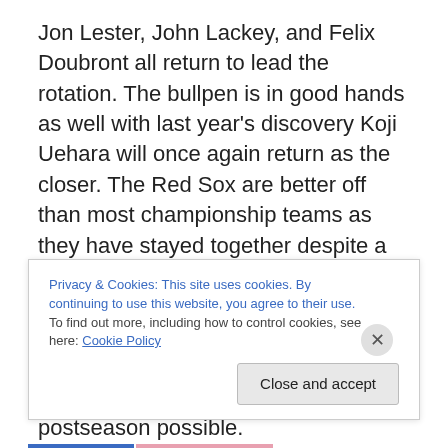Jon Lester, John Lackey, and Felix Doubront all return to lead the rotation. The bullpen is in good hands as well with last year's discovery Koji Uehara will once again return as the closer. The Red Sox are better off than most championship teams as they have stayed together despite a few departures. For the Red Sox that is a good thing as they will come back as a top team this year and they will once again fight for the top spot in the division with another long run into the postseason possible.
Privacy & Cookies: This site uses cookies. By continuing to use this website, you agree to their use. To find out more, including how to control cookies, see here: Cookie Policy